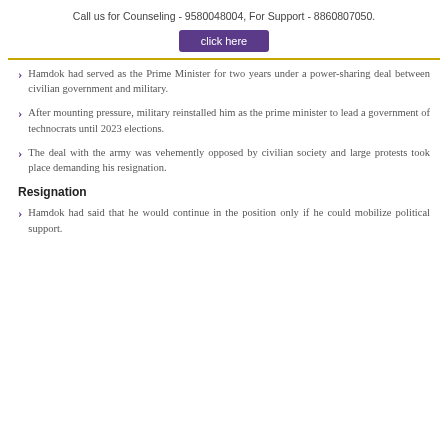Call us for Counseling - 9580048004, For Support - 8860807050.
[Figure (other): Purple button labeled 'click here']
Hamdok had served as the Prime Minister for two years under a power-sharing deal between civilian government and military.
After mounting pressure, military reinstalled him as the prime minister to lead a government of technocrats until 2023 elections.
The deal with the army was vehemently opposed by civilian society and large protests took place demanding his resignation.
Resignation
Hamdok had said that he would continue in the position only if he could mobilize political support.